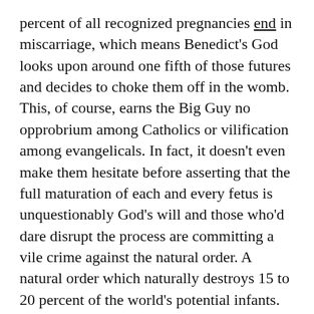percent of all recognized pregnancies end in miscarriage, which means Benedict's God looks upon around one fifth of those futures and decides to choke them off in the womb. This, of course, earns the Big Guy no opprobrium among Catholics or vilification among evangelicals. In fact, it doesn't even make them hesitate before asserting that the full maturation of each and every fetus is unquestionably God's will and those who'd dare disrupt the process are committing a vile crime against the natural order. A natural order which naturally destroys 15 to 20 percent of the world's potential infants.
To be clear, it's not that I think abortions are good or God bad, but the gaping inconsistencies fundamentalists blithely accept simply astonishes